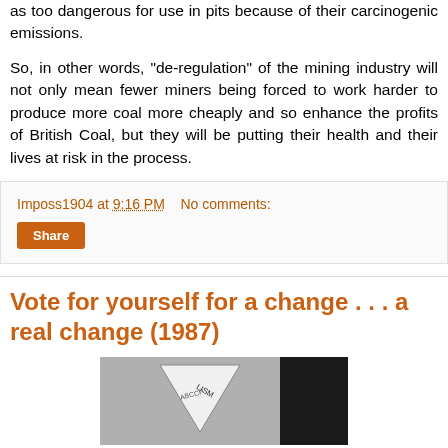as too dangerous for use in pits because of their carcinogenic emissions.
So, in other words, "de-regulation" of the mining industry will not only mean fewer miners being forced to work harder to produce more coal more cheaply and so enhance the profits of British Coal, but they will be putting their health and their lives at risk in the process.
Imposs1904 at 9:16 PM   No comments:
Share
Vote for yourself for a change . . . a real change (1987)
[Figure (photo): Black and white image showing a triangular shape with handwritten text including letters and the word 'LISM', on a grey background with a black right portion.]